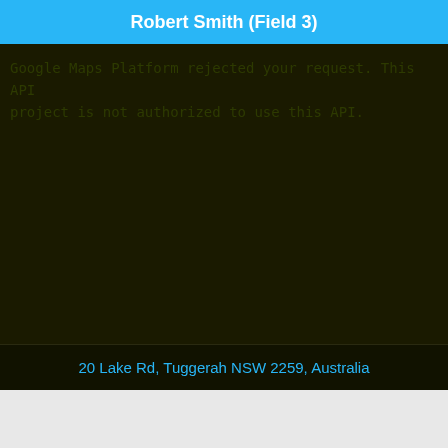Robert Smith (Field 3)
Google Maps Platform rejected your request. This API project is not authorized to use this API.
20 Lake Rd, Tuggerah NSW 2259, Australia